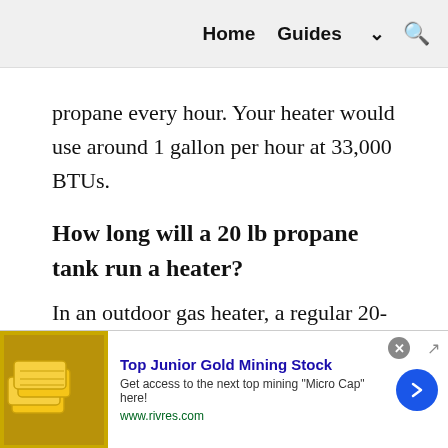Home  Guides  🔍
propane every hour. Your heater would use around 1 gallon per hour at 33,000 BTUs.
How long will a 20 lb propane tank run a heater?
In an outdoor gas heater, a regular 20-pound propane cylinder can last up to ten hours.
[Figure (other): Advertisement banner: Top Junior Gold Mining Stock. Get access to the next top mining "Micro Cap" here! www.rivres.com]